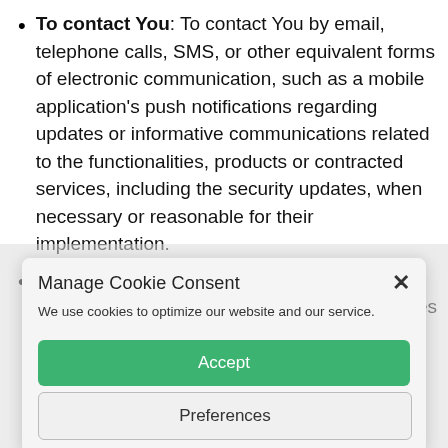To contact You: To contact You by email, telephone calls, SMS, or other equivalent forms of electronic communication, such as a mobile application's push notifications regarding updates or informative communications related to the functionalities, products or contracted services, including the security updates, when necessary or reasonable for their implementation.
To provide You with news, special offers and general information about other goods, services and events which
Manage Cookie Consent
We use cookies to optimize our website and our service.
Accept
Preferences